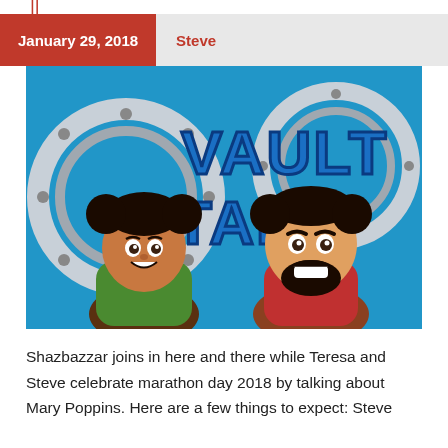January 29, 2018   Steve
[Figure (illustration): Disney Vault Talk podcast artwork featuring animated cartoon characters — a woman with Mickey Mouse ear buns wearing green and a bearded man in a red shirt, in front of a large vault door with 'VAULT TALK' text in blue 3D letters on a blue background.]
Shazbazzar joins in here and there while Teresa and Steve celebrate marathon day 2018 by talking about Mary Poppins. Here are a few things to expect: Steve